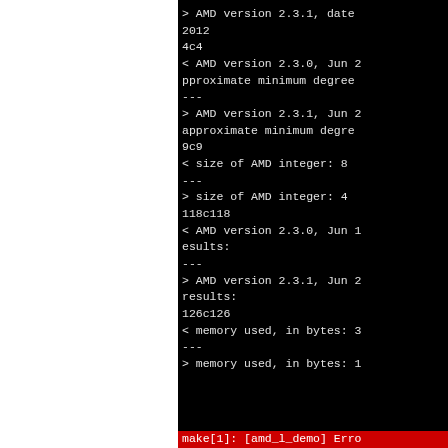[Figure (screenshot): Terminal output showing diff results between AMD version 2.3.0 and 2.3.1, including version strings, size of AMD integer, memory used, and a make error line highlighted in red.]